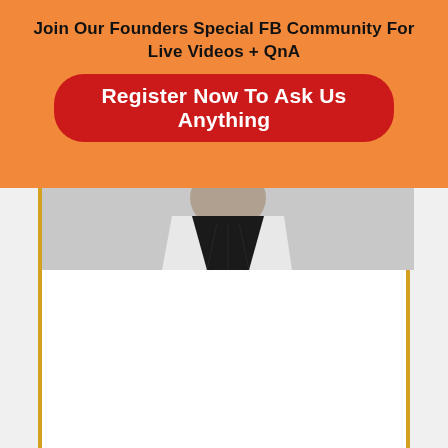Join Our Founders Special FB Community For Live Videos + QnA
Register Now To Ask Us Anything
[Figure (photo): Partial photo of a person wearing a black top, cropped at chest/neck level, shown from below chin]
It can give you steadier income than an open and close launch. For example, I've had an evergreen funnel in place for 8 months, and I can now accurately predict how much income I'll make each month from it.